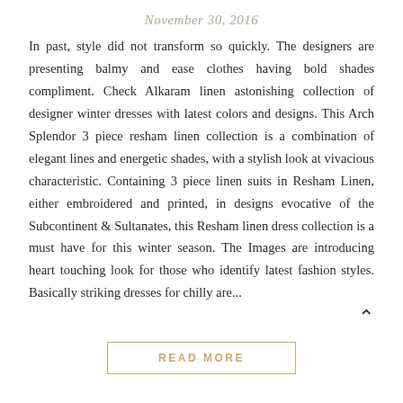November 30, 2016
In past, style did not transform so quickly. The designers are presenting balmy and ease clothes having bold shades compliment. Check Alkaram linen astonishing collection of designer winter dresses with latest colors and designs. This Arch Splendor 3 piece resham linen collection is a combination of elegant lines and energetic shades, with a stylish look at vivacious characteristic. Containing 3 piece linen suits in Resham Linen, either embroidered and printed, in designs evocative of the Subcontinent & Sultanates, this Resham linen dress collection is a must have for this winter season. The Images are introducing heart touching look for those who identify latest fashion styles. Basically striking dresses for chilly are...
READ MORE